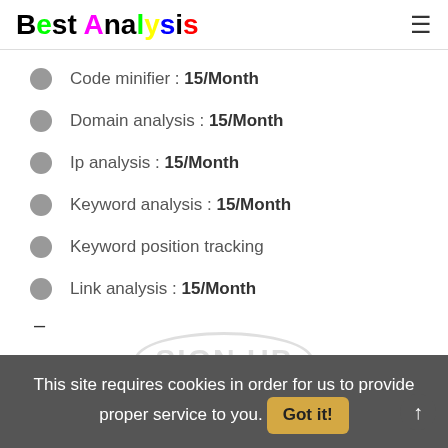Best Analysis
Code minifier : 15/Month
Domain analysis : 15/Month
Ip analysis : 15/Month
Keyword analysis : 15/Month
Keyword position tracking
Link analysis : 15/Month
–
This site requires cookies in order for us to provide proper service to you. Got it!